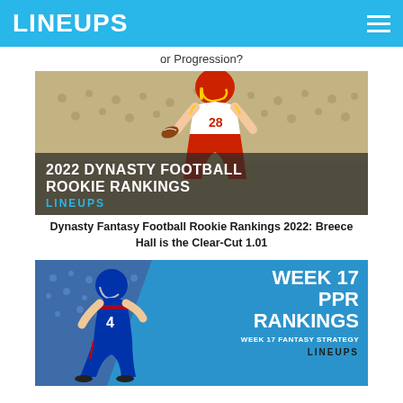LINEUPS
or Progression?
[Figure (photo): 2022 Dynasty Football Rookie Rankings promotional image featuring a college football player in an Iowa State uniform number 28, with text overlay '2022 DYNASTY FOOTBALL ROOKIE RANKINGS' and LINEUPS branding]
Dynasty Fantasy Football Rookie Rankings 2022: Breece Hall is the Clear-Cut 1.01
[Figure (photo): Week 17 PPR Rankings promotional image featuring a Buffalo Bills player running, with blue diagonal background and text 'WEEK 17 PPR RANKINGS - WEEK 17 FANTASY STRATEGY' and LINEUPS branding]